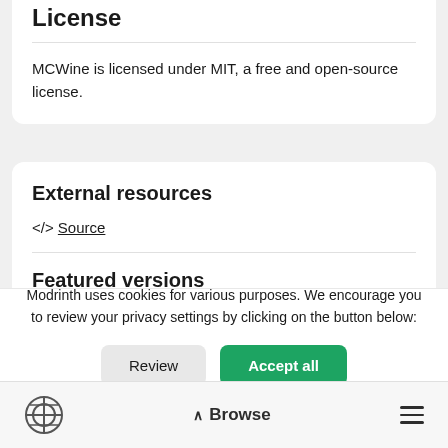License
MCWine is licensed under MIT, a free and open-source license.
External resources
</> Source
Featured versions
FinalVicVersion Update (4.4.2)
Modrinth uses cookies for various purposes. We encourage you to review your privacy settings by clicking on the button below:
Review
Accept all
Browse